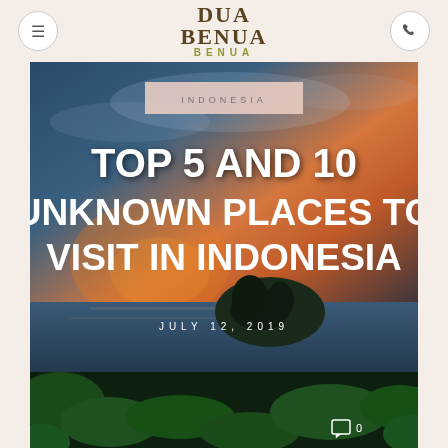DUA BENUA
[Figure (photo): Scenic coastal sunset photo with dramatic sky and tropical foliage overlay. Overlaid text reads: INDONESIA category tag, TOP 5 AND 10 UNKNOWN PLACES TO VISIT IN INDONESIA, JULY 12, 2019]
TOP 5 AND 10 UNKNOWN PLACES TO VISIT IN INDONESIA
JULY 12, 2019